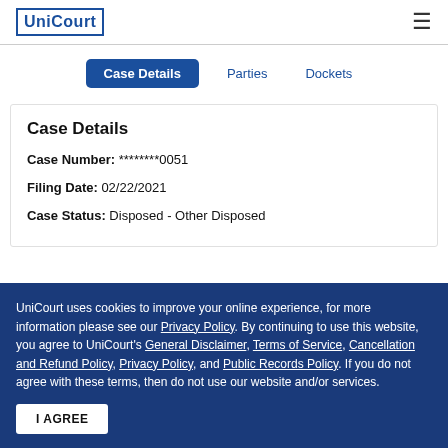UniCourt
Case Details | Parties | Dockets
Case Details
Case Number: ********0051
Filing Date: 02/22/2021
Case Status: Disposed - Other Disposed
UniCourt uses cookies to improve your online experience, for more information please see our Privacy Policy. By continuing to use this website, you agree to UniCourt's General Disclaimer, Terms of Service, Cancellation and Refund Policy, Privacy Policy, and Public Records Policy. If you do not agree with these terms, then do not use our website and/or services.
I AGREE